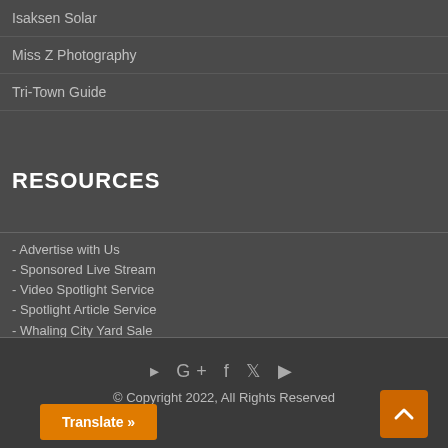Isaksen Solar
Miss Z Photography
Tri-Town Guide
RESOURCES
- Advertise with Us
- Sponsored Live Stream
- Video Spotlight Service
- Spotlight Article Service
- Whaling City Yard Sale
- Whaling City Yard Sale Rules
- Photo Submission
- Pet Portal Sponsorship
- Article Sponsorship
- Featured Job Service
- Event Calendar Service
- Guest Blogging and Editorial Submissions
- Fund Raiser Posting Policy
© Copyright 2022, All Rights Reserved